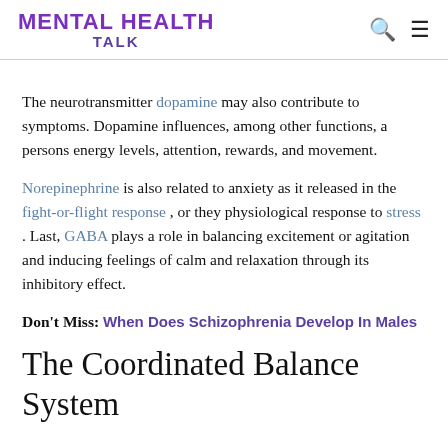MENTAL HEALTH TALK
The neurotransmitter dopamine may also contribute to symptoms. Dopamine influences, among other functions, a persons energy levels, attention, rewards, and movement.
Norepinephrine is also related to anxiety as it released in the fight-or-flight response , or they physiological response to stress . Last, GABA plays a role in balancing excitement or agitation and inducing feelings of calm and relaxation through its inhibitory effect.
Don't Miss: When Does Schizophrenia Develop In Males
The Coordinated Balance System